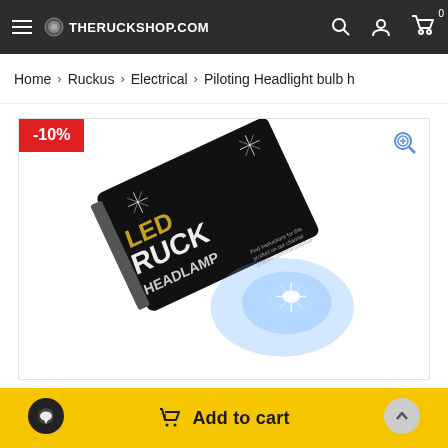THERUCKSHOP.COM
Home > Ruckus > Electrical > Piloting Headlight bulb h
[Figure (photo): Product photo of LED Ruck Headlamp package with blue glowing LED light effect, shown with a -10% discount badge]
Add to cart